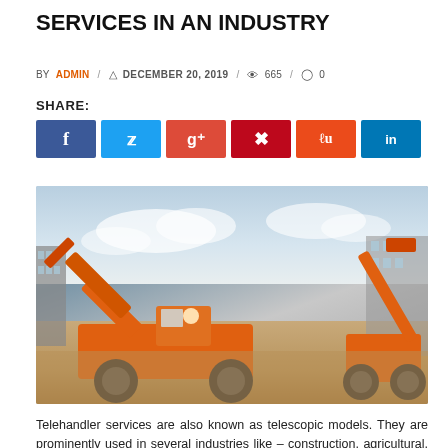SERVICES IN AN INDUSTRY
BY ADMIN / DECEMBER 20, 2019 / 665 / 0
SHARE:
[Figure (photo): Two orange telehandler/boom lift machines on a construction site with blue sky background]
Telehandler services are also known as telescopic models. They are prominently used in several industries like – construction, agricultural, and many more. They are prominently used in